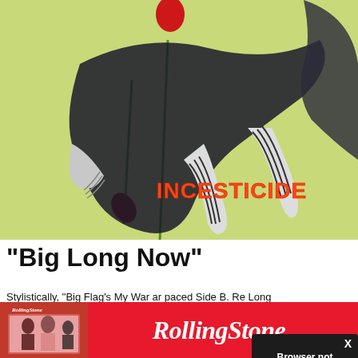[Figure (illustration): Nirvana Incesticide album cover artwork — stylized illustration on yellow-green background showing abstract figures with a red poppy flower, with the word INCESTICIDE in orange/red letters]
“Big Long Now”
Stylistically, “Big Flag’s My War ar paced Side B. Re Long Now” didn out to the similar from the scrap he for its inclusion o
[Figure (screenshot): Browser not compatible modal dialog overlay on dark background with close X button, text: 'Browser not compatible', 'You may need to update your browser', and a link 'Report ID: 1gbpbmr1s6gtmbti4cg']
[Figure (logo): Rolling Stone magazine advertisement banner — red background with Rolling Stone logo in white italic serif font on the right, and a small magazine cover image on the left]